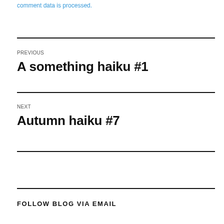comment data is processed.
PREVIOUS
A something haiku #1
NEXT
Autumn haiku #7
FOLLOW BLOG VIA EMAIL